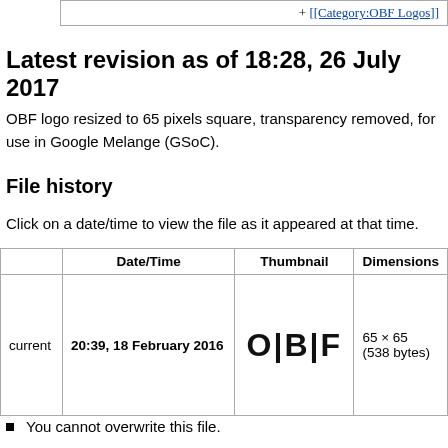+ [[Category:OBF Logos]]
Latest revision as of 18:28, 26 July 2017
OBF logo resized to 65 pixels square, transparency removed, for use in Google Melange (GSoC).
File history
Click on a date/time to view the file as it appeared at that time.
|  | Date/Time | Thumbnail | Dimensions |
| --- | --- | --- | --- |
| current | 20:39, 18 February 2016 | [OBF logo image] | 65 × 65
(538 bytes) |
You cannot overwrite this file.